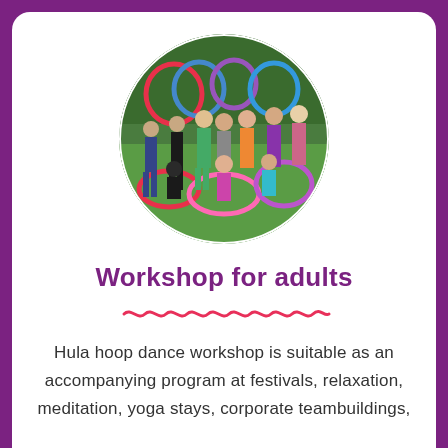[Figure (photo): Group of adults outdoors holding colorful hula hoops up, posing on green grass with trees in background, displayed in circular crop]
Workshop for adults
Hula hoop dance workshop is suitable as an accompanying program at festivals, relaxation, meditation, yoga stays, corporate teambuildings,